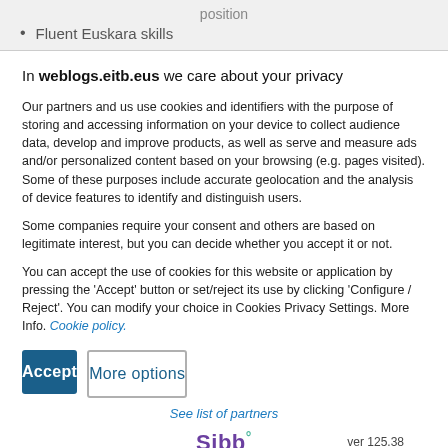position
Fluent Euskara skills
In weblogs.eitb.eus we care about your privacy
Our partners and us use cookies and identifiers with the purpose of storing and accessing information on your device to collect audience data, develop and improve products, as well as serve and measure ads and/or personalized content based on your browsing (e.g. pages visited). Some of these purposes include accurate geolocation and the analysis of device features to identify and distinguish users.
Some companies require your consent and others are based on legitimate interest, but you can decide whether you accept it or not.
You can accept the use of cookies for this website or application by pressing the 'Accept' button or set/reject its use by clicking 'Configure / Reject'. You can modify your choice in Cookies Privacy Settings. More Info. Cookie policy.
Accept
More options
See list of partners
Sibb° ver 125.38